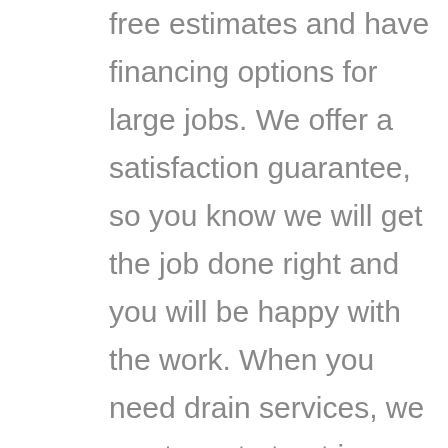free estimates and have financing options for large jobs. We offer a satisfaction guarantee, so you know we will get the job done right and you will be happy with the work. When you need drain services, we want you to trust in us.

You do not want to delay having your drains fixed or cleaned if they are draining slowly or clogged. Call Sun City Mechanical to schedule an appointment to fix or clean drains